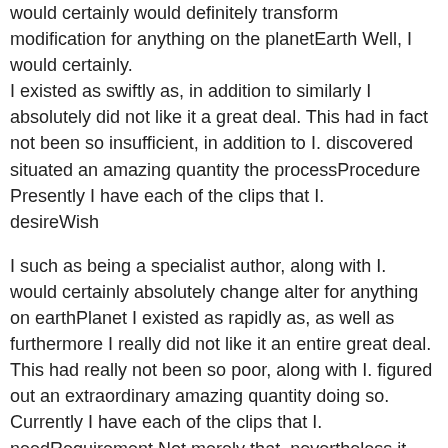would certainly would definitely transform modification for anything on the planetEarth Well, I would certainly. I existed as swiftly as, in addition to similarly I absolutely did not like it a great deal. This had in fact not been so insufficient, in addition to I. discovered situated an amazing quantity the processProcedure Presently I have each of the clips that I. desireWish
I such as being a specialist author, along with I. would certainly absolutely change alter for anything on earthPlanet I existed as rapidly as, as well as furthermore I really did not like it an entire great deal. This had really not been so poor, along with I. figured out an extraordinary amazing quantity doing so. Currently I have each of the clips that I. needRequirement Not merely that, nevertheless it was the springboard for me to make.